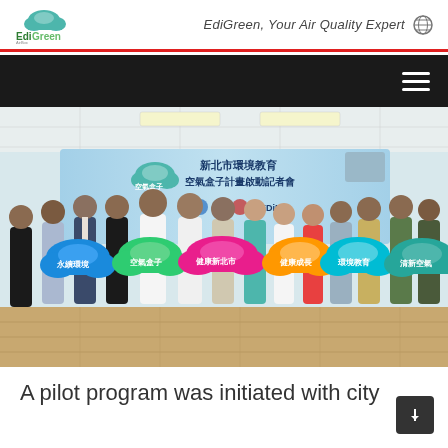EdiGreen, Your Air Quality Expert
[Figure (photo): Group photo of approximately 12 officials and representatives standing in a conference room, each holding colorful cloud-shaped signs with Chinese text (永續環境, 空氣盒子, 健康新北市, 健康成長, 環境教育, 清新空氣). A backdrop banner reads 新北市環境教育 空氣盒子計畫啟動記者會.]
A pilot program was initiated with city